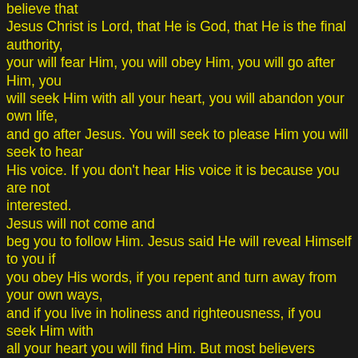believe that Jesus Christ is Lord, that He is God, that He is the final authority, your will fear Him, you will obey Him, you will go after Him, you will seek Him with all your heart, you will abandon your own life, and go after Jesus. You will seek to please Him you will seek to hear His voice. If you don't hear His voice it is because you are not interested. Jesus will not come and beg you to follow Him. Jesus said He will reveal Himself to you if you obey His words, if you repent and turn away from your own ways, and if you live in holiness and righteousness, if you seek Him with all your heart you will find Him. But most believers never find Him because they are not interested. They want to be spoon-fed like a...